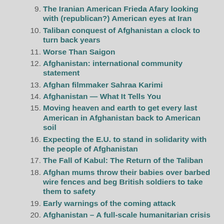9. The Iranian American Frieda Afary looking with (republican?) American eyes at Iran
10. Taliban conquest of Afghanistan a clock to turn back years
11. Worse Than Saigon
12. Afghanistan: international community statement
13. Afghan filmmaker Sahraa Karimi
14. Afghanistan — What It Tells You
15. Moving heaven and earth to get every last American in Afghanistan back to American soil
16. Expecting the E.U. to stand in solidarity with the people of Afghanistan
17. The Fall of Kabul: The Return of the Taliban
18. Afghan mums throw their babies over barbed wire fences and beg British soldiers to take them to safety
19. Early warnings of the coming attack
20. Afghanistan – A full-scale humanitarian crisis